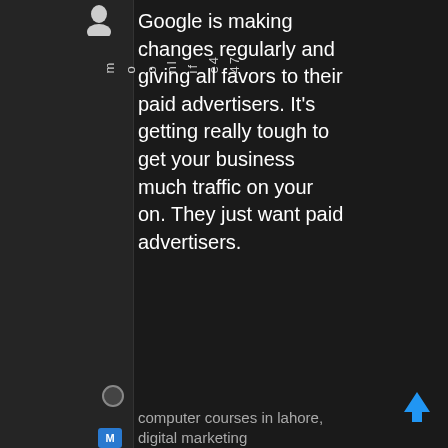[Figure (screenshot): Screenshot of a social media or forum page with dark background. Left sidebar shows user profile info with vertical text labels including 'm', 'o', 'o', 'nl', 'if', 'e4', '47', a circle icon, an M badge, a star, and 'Joined: Sep 2021'. Main content area shows white text on dark background reading: 'Google is making changes regularly and giving all favors to their paid advertisers. It's getting really tough to get your business much traffic on your on. They just want paid advertisers.' Bottom shows 'computer courses in lahore, digital marketing' in gray. Blue up-arrow icon in bottom-right corner.]